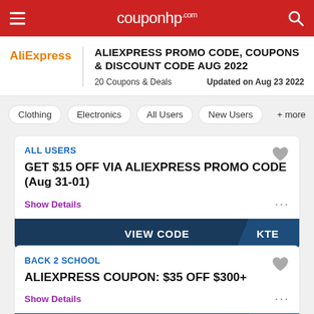couponhp.com
ALIEXPRESS PROMO CODE, COUPONS & DISCOUNT CODE AUG 2022
20 Coupons & Deals   Updated on Aug 23 2022
Clothing
Electronics
All Users
New Users
+ more
ALL USERS
GET $15 OFF VIA ALIEXPRESS PROMO CODE (Aug 31-01)
Show Details
VIEW CODE   KTE
BACK 2 SCHOOL
ALIEXPRESS COUPON: $35 OFF $300+
Show Details
VIEW CODE   RVJ